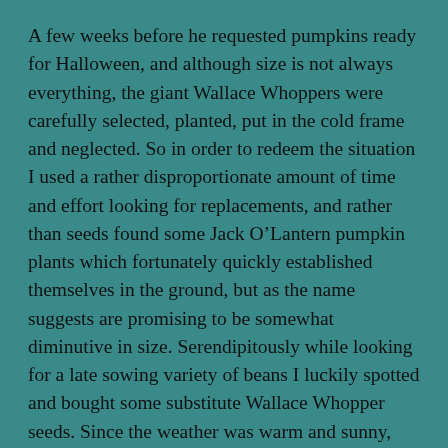A few weeks before he requested pumpkins ready for Halloween, and although size is not always everything, the giant Wallace Whoppers were carefully selected, planted, put in the cold frame and neglected. So in order to redeem the situation I used a rather disproportionate amount of time and effort looking for replacements, and rather than seeds found some Jack O’Lantern pumpkin plants which fortunately quickly established themselves in the ground, but as the name suggests are promising to be somewhat diminutive in size. Serendipitously while looking for a late sowing variety of beans I luckily spotted and bought some substitute Wallace Whopper seeds. Since the weather was warm and sunny, and my watering attentive, the seeds germinated quite quickly, and the plants were planted.
Now several weeks later, and having enjoyed the sun, they are not only growing well but their leaves are